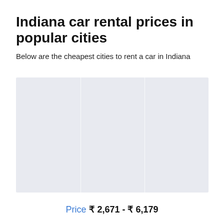Indiana car rental prices in popular cities
Below are the cheapest cities to rent a car in Indiana
[Figure (other): Placeholder chart area with light blue-gray background divided into three columns, representing car rental price data for Indiana cities]
Price ₹2,671 - ₹6,179